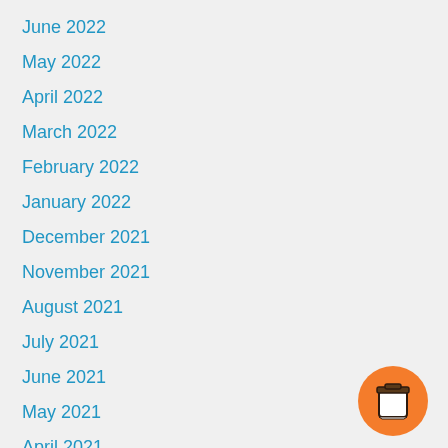June 2022
May 2022
April 2022
March 2022
February 2022
January 2022
December 2021
November 2021
August 2021
July 2021
June 2021
May 2021
April 2021
March 2021
February 2021
[Figure (illustration): Orange circular button with a coffee cup icon]